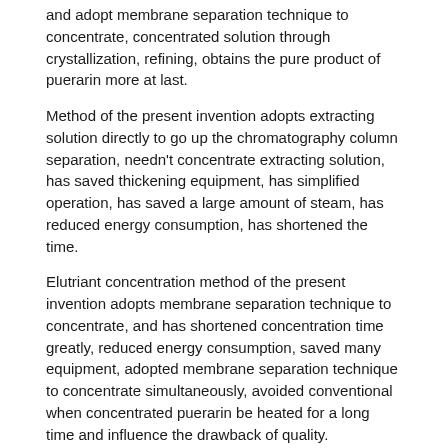and adopt membrane separation technique to concentrate, concentrated solution through crystallization, refining, obtains the pure product of puerarin more at last.
Method of the present invention adopts extracting solution directly to go up the chromatography column separation, needn't concentrate extracting solution, has saved thickening equipment, has simplified operation, has saved a large amount of steam, has reduced energy consumption, has shortened the time.
Elutriant concentration method of the present invention adopts membrane separation technique to concentrate, and has shortened concentration time greatly, reduced energy consumption, saved many equipment, adopted membrane separation technique to concentrate simultaneously, avoided conventional when concentrated puerarin be heated for a long time and influence the drawback of quality.
Chromatographic separating process of the present invention, the sorbent material that is adopted can be polymeric adsorbents such as polymeric amide, macroporous resin, dextrane gel.